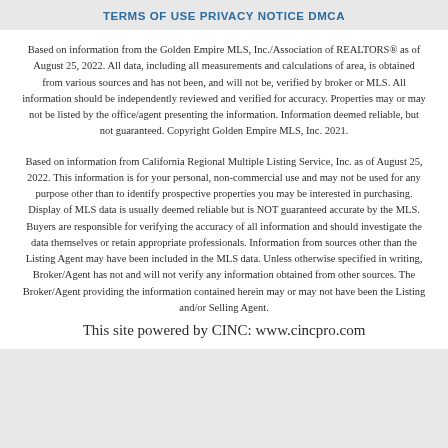TERMS OF USE PRIVACY NOTICE DMCA
Based on information from the Golden Empire MLS, Inc./Association of REALTORS® as of August 25, 2022. All data, including all measurements and calculations of area, is obtained from various sources and has not been, and will not be, verified by broker or MLS. All information should be independently reviewed and verified for accuracy. Properties may or may not be listed by the office/agent presenting the information. Information deemed reliable, but not guaranteed. Copyright Golden Empire MLS, Inc. 2021.
Based on information from California Regional Multiple Listing Service, Inc. as of August 25, 2022. This information is for your personal, non-commercial use and may not be used for any purpose other than to identify prospective properties you may be interested in purchasing. Display of MLS data is usually deemed reliable but is NOT guaranteed accurate by the MLS. Buyers are responsible for verifying the accuracy of all information and should investigate the data themselves or retain appropriate professionals. Information from sources other than the Listing Agent may have been included in the MLS data. Unless otherwise specified in writing, Broker/Agent has not and will not verify any information obtained from other sources. The Broker/Agent providing the information contained herein may or may not have been the Listing and/or Selling Agent.
This site powered by CINC: www.cincpro.com